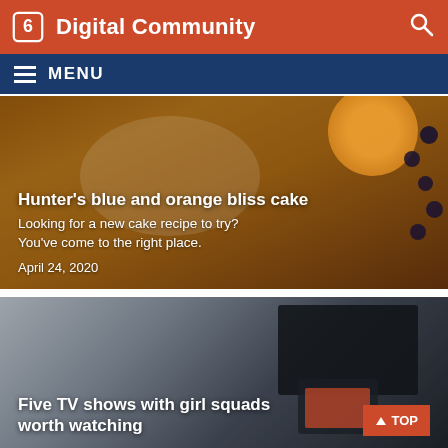Digital Community
MENU
[Figure (photo): Cake with orange slices and blueberries on top, used as article thumbnail]
Hunter's blue and orange bliss cake
Looking for a new cake recipe to try? You've come to the right place.
April 24, 2020
[Figure (photo): Laptop and tablet on desk, used as article thumbnail for TV shows article]
Five TV shows with girl squads worth watching